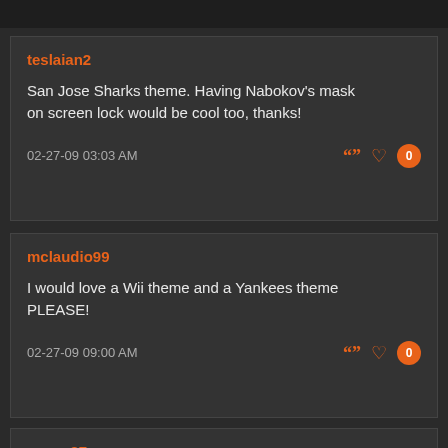teslaian2
San Jose Sharks theme. Having Nabokov's mask on screen lock would be cool too, thanks!
02-27-09 03:03 AM
mclaudio99
I would love a Wii theme and a Yankees theme PLEASE!
02-27-09 09:00 AM
venus27
Mmm...a Simpson Theme pleaseee??Thx